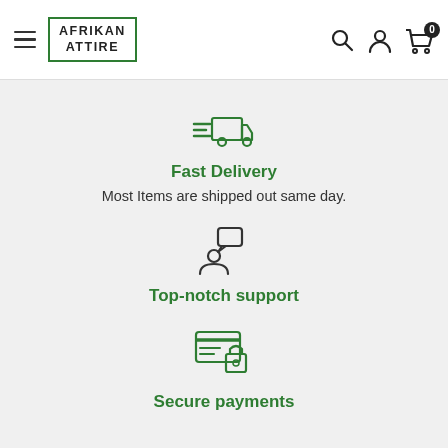AFRIKAN ATTIRE — Navigation bar with hamburger menu, logo, search, account, and cart icons
[Figure (illustration): Fast delivery truck icon in green outline style with speed lines]
Fast Delivery
Most Items are shipped out same day.
[Figure (illustration): Top-notch support icon: person silhouette with speech bubble, green outline style]
Top-notch support
[Figure (illustration): Secure payments icon: credit card with lock, green outline style]
Secure payments